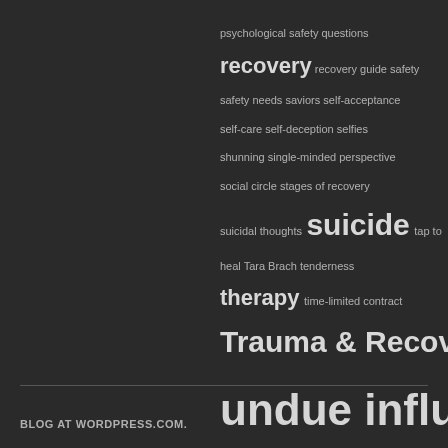[Figure (infographic): Tag cloud on dark background with terms related to psychology, recovery, and mental health. Terms shown at varying font sizes indicating relative frequency/importance: 'psychological safety questions', 'recovery' (large), 'recovery guide safety', 'safety needs saviors self-acceptance', 'self-care self-deception selfies', 'shunning single-minded perspective', 'social circle stages of recovery', 'suicidal thoughts', 'suicide' (large), 'tap to heal', 'Tara Brach tenderness', 'therapy' (large), 'time-limited contract', 'Trauma & Recovery' (large), 'Trump', 'undue influence' (extra large)]
BLOG AT WORDPRESS.COM.